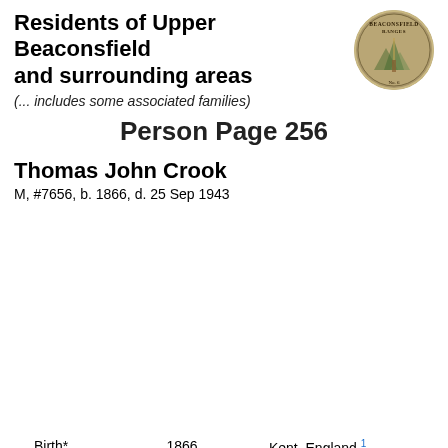Residents of Upper Beaconsfield and surrounding areas
(... includes some associated families)
[Figure (logo): Circular logo/seal for Beaconsfield Ranges]
Person Page 256
Thomas John Crook
M, #7656, b. 1866, d. 25 Sep 1943
| Event | Date | Detail |
| --- | --- | --- |
| Birth* | 1866 | Kent, England.1 |
| Marriage* | 1891 | Spouse: Annie Maria Shaw. VIC, Australia, #M4041.2 |
| Land-UBeac | 31 Mar 1924 | GEM-C-72. Transfer from Egbert Charles Tyler to Thomas John Crook. Containing 29a 3r 13p.3 |
| Land-UBeac | 31 Mar 1924 | GEM-C-79. Transfer from Egbert Charles... |